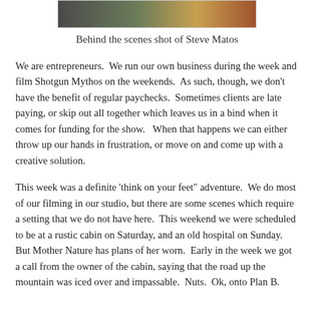[Figure (photo): Behind the scenes photo of Steve Matos, partially visible at top of page]
Behind the scenes shot of Steve Matos
We are entrepreneurs.  We run our own business during the week and film Shotgun Mythos on the weekends.  As such, though, we don't have the benefit of regular paychecks.  Sometimes clients are late paying, or skip out all together which leaves us in a bind when it comes for funding for the show.   When that happens we can either throw up our hands in frustration, or move on and come up with a creative solution.
This week was a definite 'think on your feet" adventure.  We do most of our filming in our studio, but there are some scenes which require a setting that we do not have here.  This weekend we were scheduled to be at a rustic cabin on Saturday, and an old hospital on Sunday.  But Mother Nature has plans of her worn.  Early in the week we got a call from the owner of the cabin, saying that the road up the mountain was iced over and impassable.  Nuts.  Ok, onto Plan B.